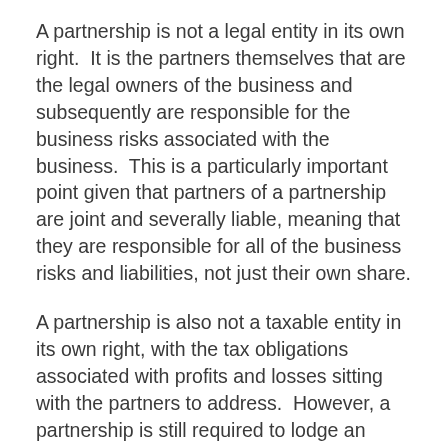A partnership is not a legal entity in its own right.  It is the partners themselves that are the legal owners of the business and subsequently are responsible for the business risks associated with the business.  This is a particularly important point given that partners of a partnership are joint and severally liable, meaning that they are responsible for all of the business risks and liabilities, not just their own share.
A partnership is also not a taxable entity in its own right, with the tax obligations associated with profits and losses sitting with the partners to address.  However, a partnership is still required to lodge an annual income tax return disclosing its activity and what has been allocated to its partners.
Operating a business under a Partnership structure of any kind has its benefits. But as we saw with the sole trader article, it is important to acknowledge that with benefits comes potential risks. We have outlined the pros and cons of operating in a partnership for you to consider.